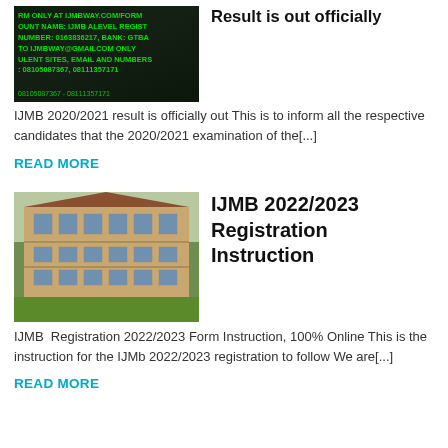[Figure (photo): Dark background image with green text showing IJMB registration information including bank details and phone numbers 08105087367, 08111357171]
Result is out officially
IJMB 2020/2021 result is officially out This is to inform all the respective candidates that the 2020/2021 examination of the[...]
READ MORE
[Figure (photo): Photo of a multi-story school building with green lawn in front]
IJMB 2022/2023 Registration Instruction
IJMB  Registration 2022/2023 Form Instruction, 100% Online This is the instruction for the IJMb 2022/2023 registration to follow We are[...]
READ MORE